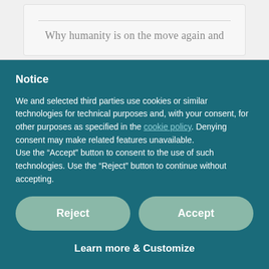Why humanity is on the move again and
Notice
We and selected third parties use cookies or similar technologies for technical purposes and, with your consent, for other purposes as specified in the cookie policy. Denying consent may make related features unavailable.
Use the “Accept” button to consent to the use of such technologies. Use the “Reject” button to continue without accepting.
Reject
Accept
Learn more & Customize